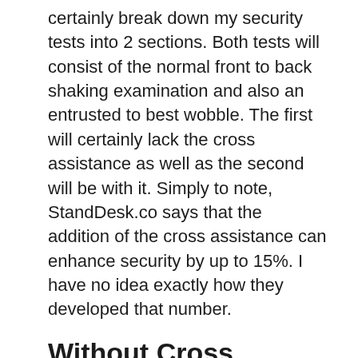certainly break down my security tests into 2 sections. Both tests will consist of the normal front to back shaking examination and also an entrusted to best wobble. The first will certainly lack the cross assistance as well as the second will be with it. Simply to note, StandDesk.co says that the addition of the cross assistance can enhance security by up to 15%. I have no idea exactly how they developed that number.
Without Cross Support
Left to Right: The wobble examination was a various situation. StandDesk Simple was the 2nd desk that I checked that tottered at the bottom with weight on the desktop. The very first was the IKEA Bekant. By the time it